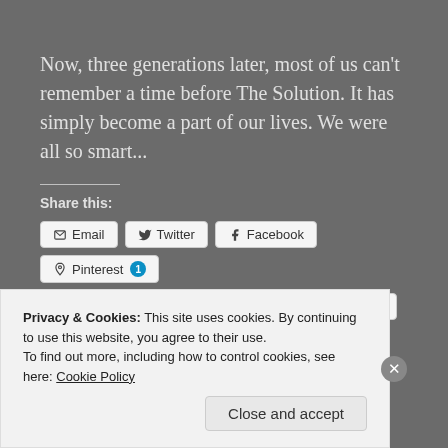Now, three generations later, most of us can't remember a time before The Solution. It has simply become a part of our lives. We were all so smart...
Share this:
[Figure (screenshot): Social sharing buttons: Email, Twitter, Facebook, Pinterest (with badge 1), Tumblr, Reddit, LinkedIn, More]
Loading...
Privacy & Cookies: This site uses cookies. By continuing to use this website, you agree to their use.
To find out more, including how to control cookies, see here: Cookie Policy
Close and accept